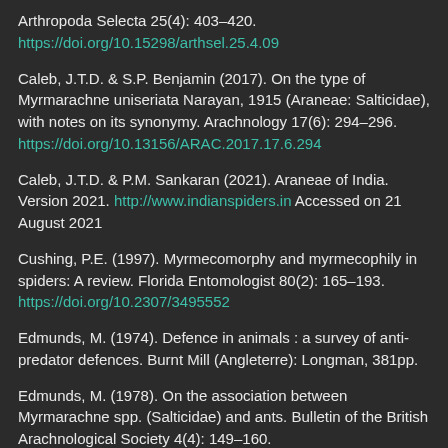Arthropoda Selecta 25(4): 403–420. https://doi.org/10.15298/arthsel.25.4.09
Caleb, J.T.D. & S.P. Benjamin (2017). On the type of Myrmarachne uniseriata Narayan, 1915 (Araneae: Salticidae), with notes on its synonymy. Arachnology 17(6): 294–296. https://doi.org/10.13156/ARAC.2017.17.6.294
Caleb, J.T.D. & P.M. Sankaran (2021). Araneae of India. Version 2021. http://www.indianspiders.in Accessed on 21 August 2021
Cushing, P.E. (1997). Myrmecomorphy and myrmecophily in spiders: A review. Florida Entomologist 80(2): 165–193. https://doi.org/10.2307/3495552
Edmunds, M. (1974). Defence in animals : a survey of anti-predator defences. Burnt Mill (Angleterre): Longman, 381pp.
Edmunds, M. (1978). On the association between Myrmarachne spp. (Salticidae) and ants. Bulletin of the British Arachnological Society 4(4): 149–160.